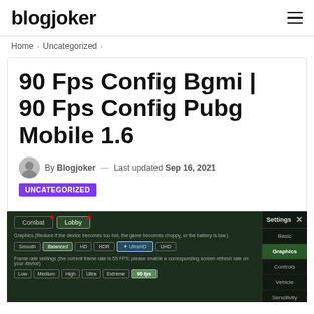blogjoker
Home > Uncategorized >
90 Fps Config Bgmi | 90 Fps Config Pubg Mobile 1.6
By Blogjoker — Last updated Sep 16, 2021 UNCATEGORIZED
[Figure (screenshot): PUBG Mobile / BGMI settings screen showing Graphics tab with quality options (Smooth, Balanced, HD, HDR, UltraHD, UHD) and frame rate options (Low, Medium, High, Ultra, Extreme, 90fps selected)]